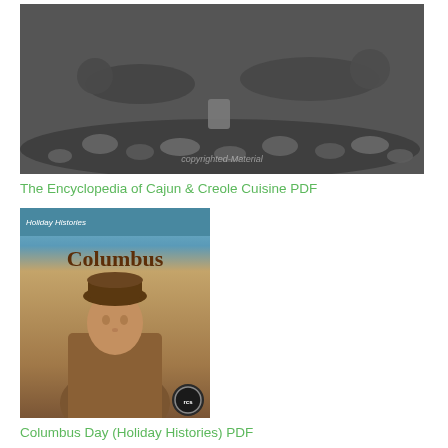[Figure (photo): Black and white photograph of people reclining among piles of oyster shells with a tin can visible, watermarked image]
The Encyclopedia of Cajun & Creole Cuisine PDF
[Figure (photo): Book cover of 'Columbus Day' from Holiday Histories series, showing a portrait of Christopher Columbus wearing a hat, with a dark badge/seal in the corner]
Columbus Day (Holiday Histories) PDF